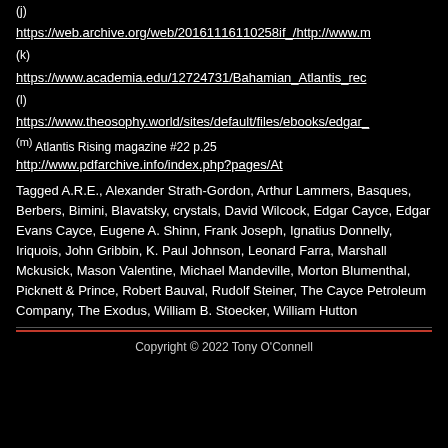(j)
https://web.archive.org/web/20161116110258if_/http://www.m
(k)
https://www.academia.edu/12724731/Bahamian_Atlantis_rec
(l)
https://www.theosophy.world/sites/default/files/ebooks/edgar_
(m) Atlantis Rising magazine #22 p.25 http://www.pdfarchive.info/index.php?pages/At
Tagged A.R.E., Alexander Strath-Gordon, Arthur Lammers, Basques, Berbers, Bimini, Blavatsky, crystals, David Wilcock, Edgar Cayce, Edgar Evans Cayce, Eugene A. Shinn, Frank Joseph, Ignatius Donnelly, Iriquois, John Gribbin, K. Paul Johnson, Leonard Farra, Marshall Mckusick, Mason Valentine, Michael Mandeville, Morton Blumenthal, Picknett & Prince, Robert Bauval, Rudolf Steiner, The Cayce Petroleum Company, The Exodus, William B. Stoecker, William Hutton
Copyright © 2022 Tony O'Connell